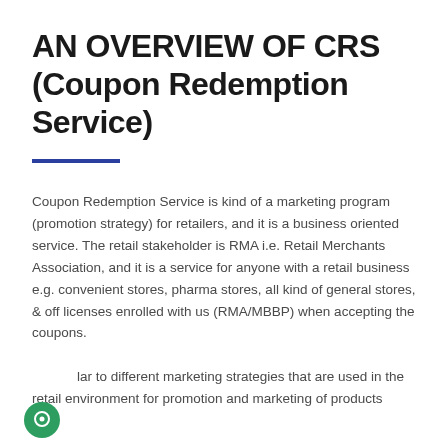AN OVERVIEW OF CRS (Coupon Redemption Service)
Coupon Redemption Service is kind of a marketing program (promotion strategy) for retailers, and it is a business oriented service. The retail stakeholder is RMA i.e. Retail Merchants Association, and it is a service for anyone with a retail business e.g. convenient stores, pharma stores, all kind of general stores, & off licenses enrolled with us (RMA/MBBP) when accepting the coupons.
Similar to different marketing strategies that are used in the retail environment for promotion and marketing of products